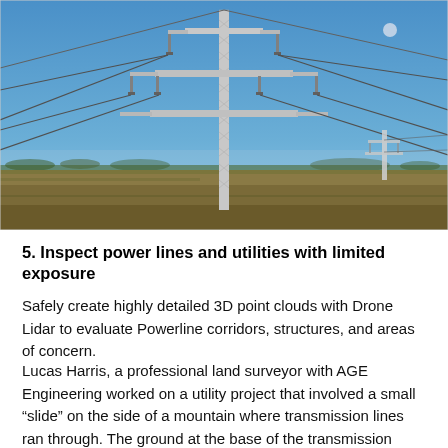[Figure (photo): Photograph of a large lattice-steel electricity transmission tower (pylon) standing in an open flat field with dry brown grass under a clear blue sky. Power lines extend from the tower's crossarms. A smaller tower is visible in the background on the right. The image is taken at ground level looking up slightly.]
5. Inspect power lines and utilities with limited exposure
Safely create highly detailed 3D point clouds with Drone Lidar to evaluate Powerline corridors, structures, and areas of concern.
Lucas Harris, a professional land surveyor with AGE Engineering worked on a utility project that involved a small “slide” on the side of a mountain where transmission lines ran through. The ground at the base of the transmission structures began to fail